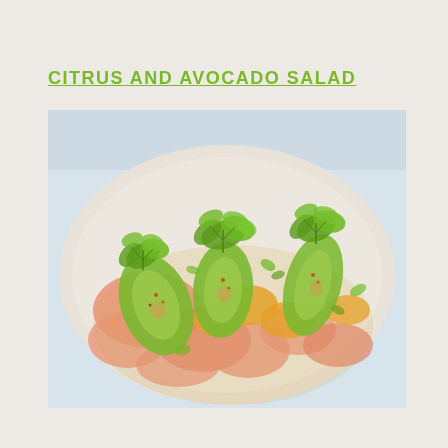CITRUS AND AVOCADO SALAD
[Figure (photo): A plate of citrus and avocado salad featuring sliced avocado halves arranged on pink grapefruit and orange citrus segments, garnished with fresh green herbs (parsley/chervil) and red pepper flakes, served on a white round plate with citrus dressing.]